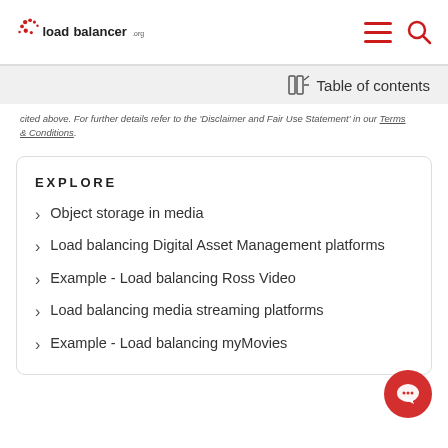loadbalancer.org
Table of contents
cited above. For further details refer to the 'Disclaimer and Fair Use Statement' in our Terms & Conditions.
EXPLORE
Object storage in media
Load balancing Digital Asset Management platforms
Example - Load balancing Ross Video
Load balancing media streaming platforms
Example - Load balancing myMovies